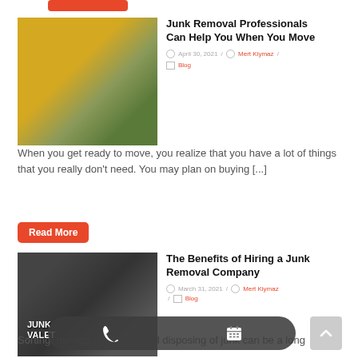[Figure (photo): Room with yellow wall, large plant, and furniture wrapped in plastic for moving]
Junk Removal Professionals Can Help You When You Move
April 30, 2021 / Mert Kiymaz / Blog
When you get ready to move, you realize that you have a lot of things that you really don't need. You may plan on buying [...]
Read More
[Figure (photo): Cluttered garage full of old electronics, amplifiers, sports equipment with JUNK VALET text overlay]
The Benefits of Hiring a Junk Removal Company
March 31, 2021 / Mert Kiymaz / Blog
Sorting, moving, recycling, and disposing of junk can be a long